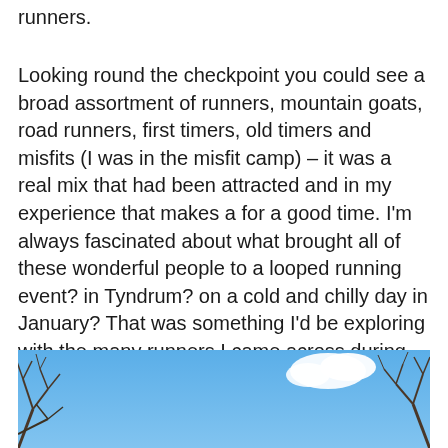runners.
Looking round the checkpoint you could see a broad assortment of runners, mountain goats, road runners, first timers, old timers and misfits (I was in the misfit camp) – it was a real mix that had been attracted and in my experience that makes a for a good time. I'm always fascinated about what brought all of these wonderful people to a looped running event? in Tyndrum? on a cold and chilly day in January? That was something I'd be exploring with the many runners I came across during my time on the course.
[Figure (photo): Outdoor photo showing a blue sky with a white cloud and bare winter tree branches in the corners and bottom of the frame.]